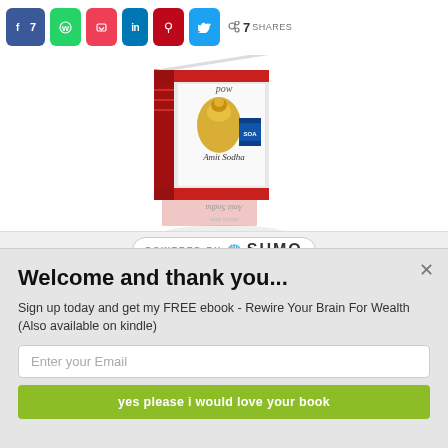[Figure (screenshot): Social share bar with Facebook (7), WhatsApp, Pocket, LinkedIn, Pinterest, Twitter buttons, and total share count of 7]
[Figure (photo): Book cover image - 'Rewire Your Brain For Wealth' by Amit Sodha, shown as a 3D box with gold decorative figure and red/white design, with reflection below]
[Figure (logo): Powered by SUMO badge with crown icon]
Welcome and thank you...
Sign up today and get my FREE ebook - Rewire Your Brain For Wealth (Also available on kindle)
Enter your Email
yes please i would love your book